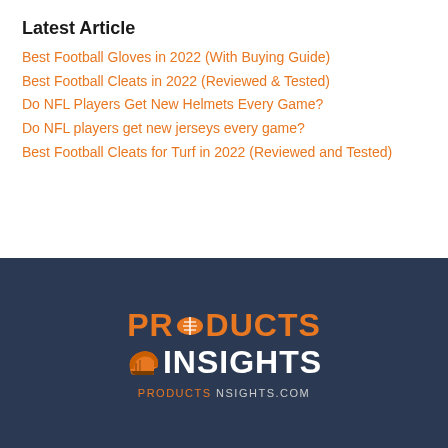Latest Article
Best Football Gloves in 2022 (With Buying Guide)
Best Football Cleats in 2022 (Reviewed & Tested)
Do NFL Players Get New Helmets Every Game?
Do NFL players get new jerseys every game?
Best Football Cleats for Turf in 2022 (Reviewed and Tested)
[Figure (logo): Products Insights logo with football and helmet icons on dark navy background, with text PRODUCTSINSIGHTS.COM below]